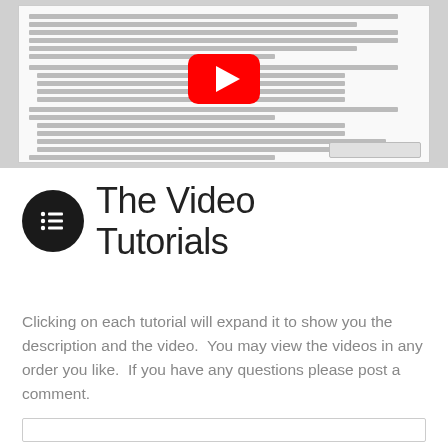[Figure (screenshot): Screenshot of a document viewer showing a text document with bullet points, overlaid with a YouTube play button icon in the center and a toolbar strip in the bottom-right corner.]
The Video Tutorials
Clicking on each tutorial will expand it to show you the description and the video.  You may view the videos in any order you like.  If you have any questions please post a comment.